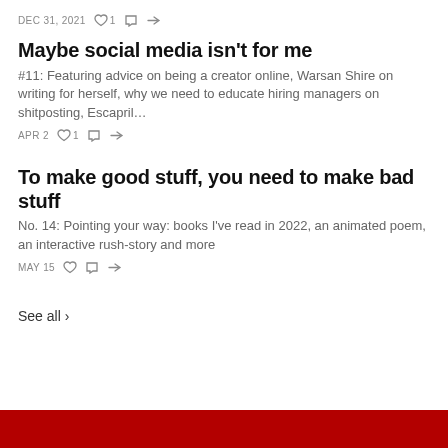DEC 31, 2021  ♡ 1  ○  ⇧
Maybe social media isn't for me
#11: Featuring advice on being a creator online, Warsan Shire on writing for herself, why we need to educate hiring managers on shitposting, Escapril…
APR 2  ♡ 1  ○  ⇧
To make good stuff, you need to make bad stuff
No. 14: Pointing your way: books I've read in 2022, an animated poem, an interactive rush-story and more
MAY 15  ♡  ○  ⇧
See all ›